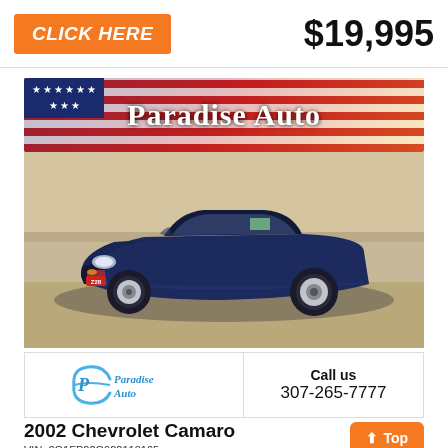[Figure (other): Orange button with 'CLICK HERE' text on left, price '$19,995' on right in top bar]
[Figure (other): Paradise Auto dealer banner with American flag background and 'Paradise Auto' text]
[Figure (photo): 2002 Chevrolet Camaro in dark blue/navy, parked in gravel lot, side/front angle view]
[Figure (logo): Paradise Auto dealer logo with circular swoosh in blue, text 'Paradise Auto']
Call us
307-265-7777
2002 Chevrolet Camaro
VIN: 2G1FP22G922118165